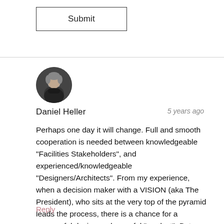Submit
[Figure (photo): Circular profile photo of Daniel Heller, a middle-aged man with gray hair wearing a dark turtleneck]
Daniel Heller
5 years ago
Perhaps one day it will change. Full and smooth cooperation is needed between knowledgeable "Facilities Stakeholders", and experienced/knowledgeable "Designers/Architects". From my experience, when a decision maker with a VISION (aka The President), who sits at the very top of the pyramid leads the process, there is a chance for a successful design and a useful "product". But most of the time this scenario, regrettably is an anomaly.
Reply